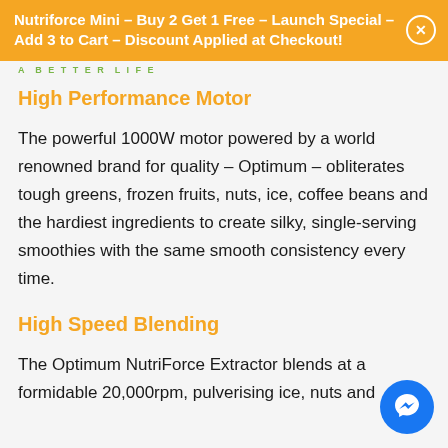Nutriforce Mini – Buy 2 Get 1 Free – Launch Special – Add 3 to Cart – Discount Applied at Checkout!
A BETTER LIFE
High Performance Motor
The powerful 1000W motor powered by a world renowned brand for quality – Optimum – obliterates tough greens, frozen fruits, nuts, ice, coffee beans and the hardiest ingredients to create silky, single-serving smoothies with the same smooth consistency every time.
High Speed Blending
The Optimum NutriForce Extractor blends at a formidable 20,000rpm, pulverising ice, nuts and